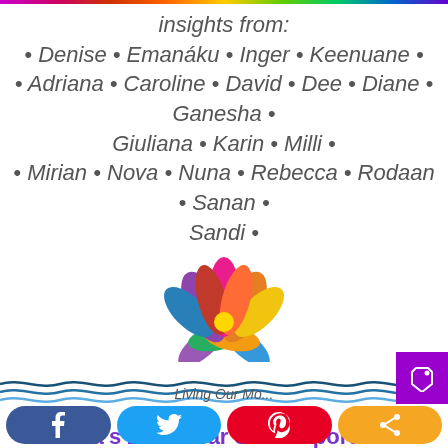insights from:
• Denise • Emanáku • Inger • Keenuane •
• Adriana • Caroline • David • Dee • Diane • Ganesha •
Giuliana • Karin • Milli •
• Mirian • Nova • Nuna • Rebecca • Rodaan • Sanan •
Sandi •
[Figure (illustration): Colorful rainbow lotus flower illustration]
[Figure (illustration): Blue wavy lines decoration divider]
Solara's 2018 Year Surf Report
Living Our Most...
f  [Twitter bird]  [Pinterest P]  [Share icon]